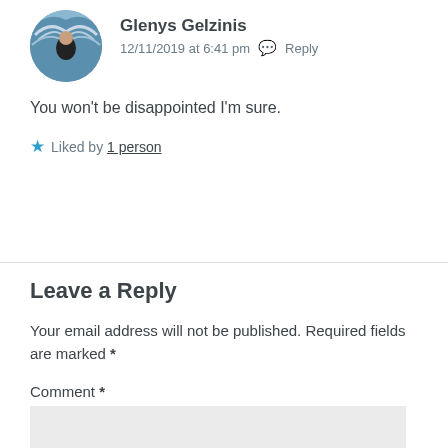[Figure (photo): Circular avatar photo of Glenys Gelzinis, a person standing in front of a colorful painted mural with butterfly/wing motifs]
Glenys Gelzinis
12/11/2019 at 6:41 pm  Reply
You won't be disappointed I'm sure.
Liked by 1 person
Leave a Reply
Your email address will not be published. Required fields are marked *
Comment *